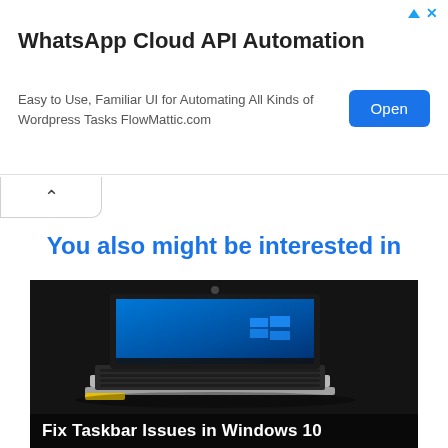[Figure (screenshot): Advertisement banner: WhatsApp Cloud API Automation. Easy to Use, Familiar UI for Automating All Kinds of Wordpress Tasks FlowMattic.com. Blue 'Open' button on right. Ad icon (triangle) and X in top-right.]
You also might be interested in
[Figure (photo): Photo of an HP EliteBook laptop with Windows 10 desktop displayed on the screen, placed on a dark surface. Caption overlay at bottom reads: Fix Taskbar Issues in Windows 10]